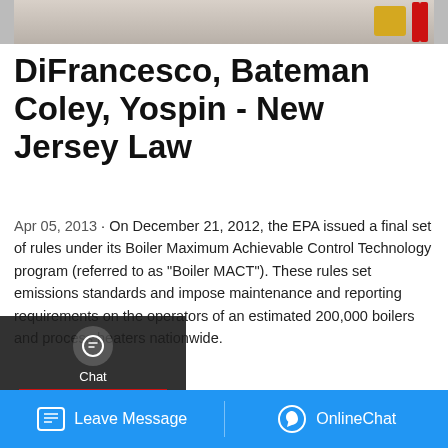[Figure (photo): Partial view of industrial equipment or facility interior, cropped at top]
DiFrancesco, Bateman Coley, Yospin - New Jersey Law
Apr 05, 2013 · On December 21, 2012, the EPA issued a final set of rules under its Boiler Maximum Achievable Control Technology program (referred to as "Boiler MACT"). These rules set emissions standards and impose maintenance and reporting requirements on the operators of an estimated 200,000 boilers and process heaters nationwide.
[Figure (screenshot): UI overlay with Chat, Email, Contact sidebar and Get a Quote button and WhatsApp sticker banner]
Leave Message   OnlineChat